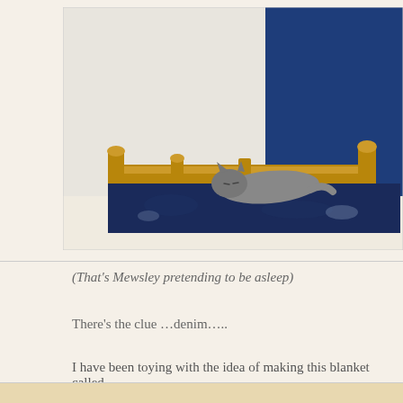[Figure (photo): A grey cat lying on a dark navy blue duvet/blanket on a wooden bed frame with turned post spindles. The room has a white wall on the left and a dark blue painted wall on the right. The cat appears to be resting or pretending to be asleep.]
(That's Mewsley pretending to be asleep)
There's the clue …denim…..
I have been toying with the idea of making this blanket called
[Figure (photo): Partial bottom strip of another photo visible at the very bottom of the page.]